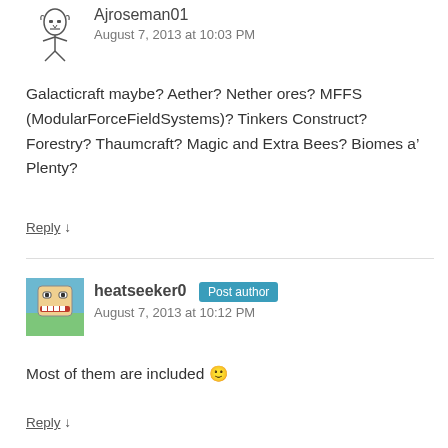[Figure (illustration): User avatar for Ajroseman01 - simple line-art cartoon figure]
Ajroseman01
August 7, 2013 at 10:03 PM
Galacticraft maybe? Aether? Nether ores? MFFS (ModularForceFieldSystems)? Tinkers Construct? Forestry? Thaumcraft? Magic and Extra Bees? Biomes a’ Plenty?
Reply ↓
[Figure (photo): User avatar for heatseeker0 - pixelated cartoon face on blue/green background]
heatseeker0  Post author
August 7, 2013 at 10:12 PM
Most of them are included 🙂
Reply ↓